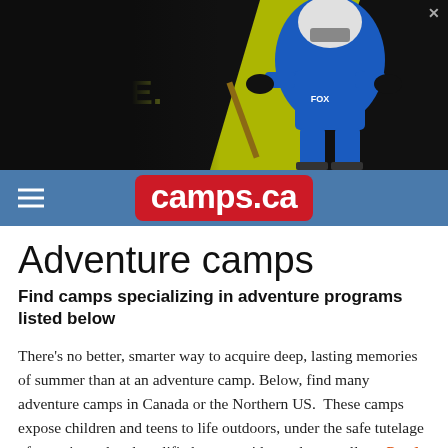[Figure (illustration): Advertisement banner with dark background showing a hockey player in blue and yellow uniform holding a stick. Text reads 'BE ACTIVE.' with 'ACTIVE.' in yellow/lime color. Close button (X) in top right corner.]
camps.ca
Adventure camps
Find camps specializing in adventure programs listed below
There's no better, smarter way to acquire deep, lasting memories of summer than at an adventure camp. Below, find many adventure camps in Canada or the Northern US.  These camps expose children and teens to life outdoors, under the safe tutelage of experienced and qualified camp guides and counsellors. Read more ›